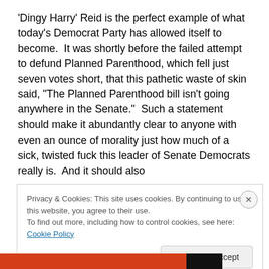'Dingy Harry' Reid is the perfect example of what today's Democrat Party has allowed itself to become.  It was shortly before the failed attempt to defund Planned Parenthood, which fell just seven votes short, that this pathetic waste of skin said, “The Planned Parenthood bill isn't going anywhere in the Senate.”  Such a statement should make it abundantly clear to anyone with even an ounce of morality just how much of a sick, twisted fuck this leader of Senate Democrats really is.  And it should also
Privacy & Cookies: This site uses cookies. By continuing to use this website, you agree to their use.
To find out more, including how to control cookies, see here: Cookie Policy